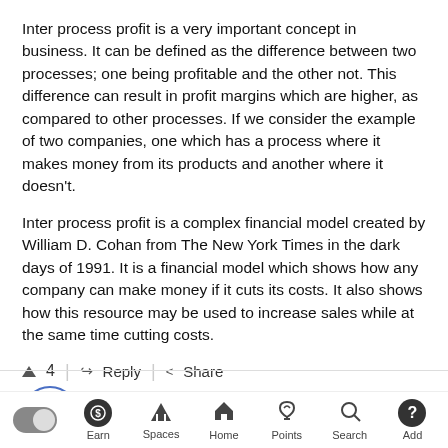Inter process profit is a very important concept in business. It can be defined as the difference between two processes; one being profitable and the other not. This difference can result in profit margins which are higher, as compared to other processes. If we consider the example of two companies, one which has a process where it makes money from its products and another where it doesn't.
Inter process profit is a complex financial model created by William D. Cohan from The New York Times in the dark days of 1991. It is a financial model which shows how any company can make money if it cuts its costs. It also shows how this resource may be used to increase sales while at the same time cutting costs.
▲ 4 | ↩ Reply | < Share
Anonymous
Added an answer on August 19, 2021 at 9:28 pm